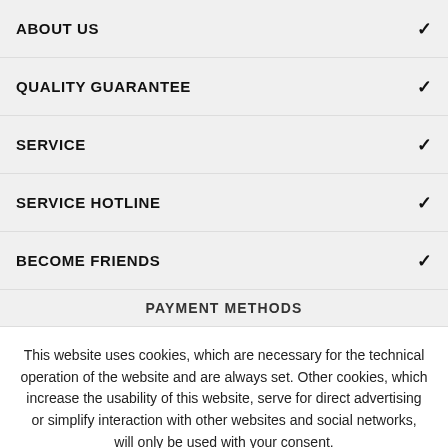ABOUT US
QUALITY GUARANTEE
SERVICE
SERVICE HOTLINE
BECOME FRIENDS
PAYMENT METHODS
This website uses cookies, which are necessary for the technical operation of the website and are always set. Other cookies, which increase the usability of this website, serve for direct advertising or simplify interaction with other websites and social networks, will only be used with your consent.
DECLINE | ACCEPT ALL | CONFIGURE